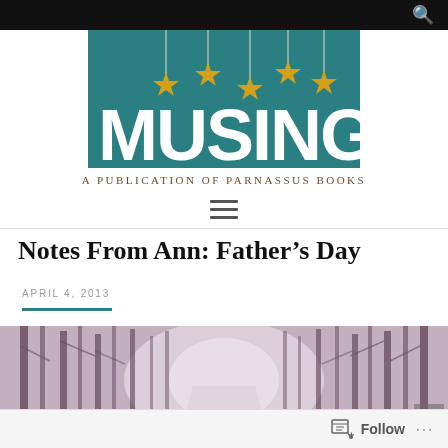[Figure (logo): Musing — A Publication of Parnassus Books logo. Teal/dark cyan background with yellow stars hanging from strings and the word MUSING in large bold white letters.]
A PUBLICATION OF PARNASSUS BOOKS
Notes From Ann: Father's Day
APRIL 4, 2013
[Figure (photo): A misty, purple-tinted winter forest path lined with bare trees. Atmospheric and moody.]
Follow